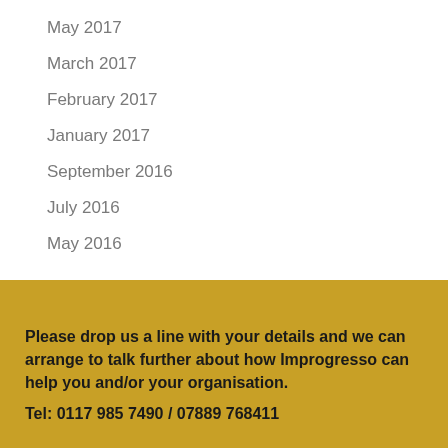May 2017
March 2017
February 2017
January 2017
September 2016
July 2016
May 2016
Please drop us a line with your details and we can arrange to talk further about how Improgresso can help you and/or your organisation.
Tel: 0117 985 7490 / 07889 768411